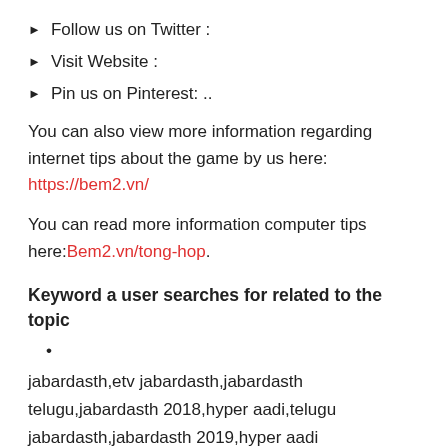Follow us on Twitter :
Visit Website :
Pin us on Pinterest: ..
You can also view more information regarding internet tips about the game by us here: https://bem2.vn/
You can read more information computer tips here:Bem2.vn/tong-hop.
Keyword a user searches for related to the topic
jabardasth,etv jabardasth,jabardasth telugu,jabardasth 2018,hyper aadi,telugu jabardasth,jabardasth 2019,hyper aadi jabardasth,jabardasth aadi,aadi